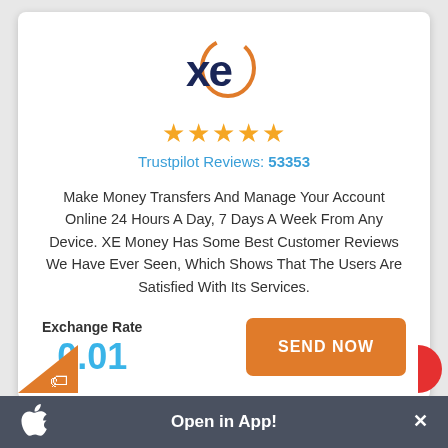[Figure (logo): XE logo — bold 'xe' text in dark navy with an orange arc/circle around the 'e']
★★★★★
Trustpilot Reviews: 53353
Make Money Transfers And Manage Your Account Online 24 Hours A Day, 7 Days A Week From Any Device. XE Money Has Some Best Customer Reviews We Have Ever Seen, Which Shows That The Users Are Satisfied With Its Services.
Exchange Rate
0.01
SEND NOW
Open in App!